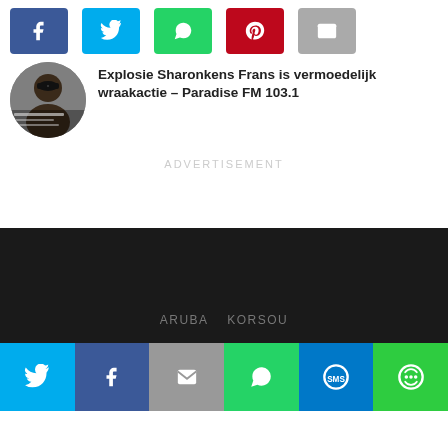[Figure (screenshot): Top social share buttons: Facebook (blue), Twitter (light blue), WhatsApp (green), Pinterest (red), Email (gray)]
[Figure (photo): Circular thumbnail image of a person wearing sunglasses with text overlay]
Explosie Sharonkens Frans is vermoedelijk wraakactie – Paradise FM 103.1
ADVERTISEMENT
ARUBA   KORSOU
[Figure (screenshot): Bottom social share bar: Twitter (blue), Facebook (dark blue), Email (gray), WhatsApp (green), SMS (blue), More/share (green)]